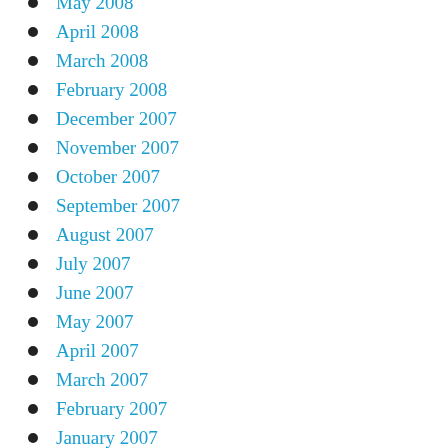May 2008
April 2008
March 2008
February 2008
December 2007
November 2007
October 2007
September 2007
August 2007
July 2007
June 2007
May 2007
April 2007
March 2007
February 2007
January 2007
December 2006